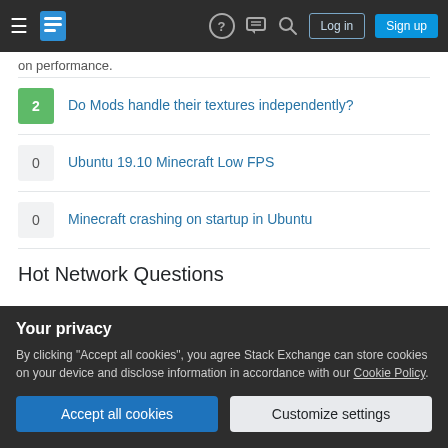Stack Exchange navigation bar with Log in and Sign up buttons
on performance.
2 — Do Mods handle their textures independently?
0 — Ubuntu 19.10 Minecraft Low FPS
0 — Minecraft crashing on startup in Ubuntu
Hot Network Questions
Start 100 process at a time in bash script
Is a hidden network with "X" security less secure than a non-hidden network with that same "X" security?
A three-way switch that keeps state with the other switch
Your privacy
By clicking "Accept all cookies", you agree Stack Exchange can store cookies on your device and disclose information in accordance with our Cookie Policy.
Accept all cookies | Customize settings